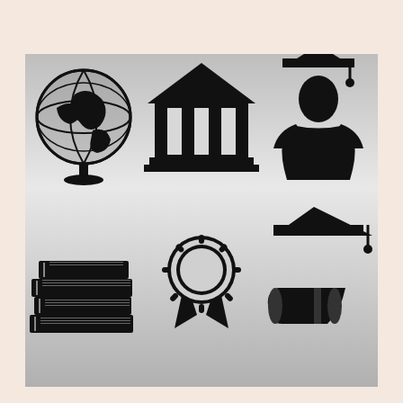[Figure (illustration): Six black education icons on a gray gradient background: globe, school building/institution, graduate student silhouette, stack of books, award ribbon/medal, graduation cap with diploma scroll]